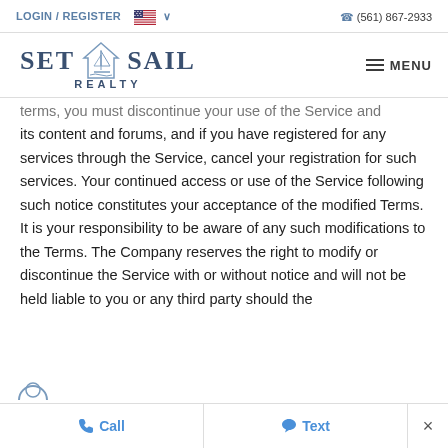LOGIN / REGISTER   🇺🇸 ∨    📞 (561) 867-2933
[Figure (logo): Set Sail Realty logo with sailboat house icon and MENU button]
terms, you must discontinue your use of the Service and its content and forums, and if you have registered for any services through the Service, cancel your registration for such services. Your continued access or use of the Service following such notice constitutes your acceptance of the modified Terms. It is your responsibility to be aware of any such modifications to the Terms. The Company reserves the right to modify or discontinue the Service with or without notice and will not be held liable to you or any third party should the
📞 Call   💬 Text   ×